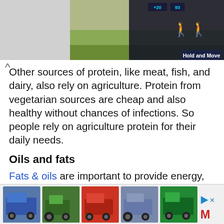[Figure (screenshot): Top portion showing a landscape/outdoor scene on the right with dark overlay UI elements showing score boxes with '+20' and '93', a figure icon, and 'Hold and Move' label on dark background]
Other sources of protein, like meat, fish, and dairy, also rely on agriculture. Protein from vegetarian sources are cheap and also healthy without chances of infections. So people rely on agriculture protein for their daily needs.
Oils and fats
Fats & oils are important to provide energy, body structure, and also heat.
[Figure (photo): Advertisement banner showing five images of agricultural vehicles and trucks (blue truck, green tractor, red vehicle, farm equipment, green dump truck) with a play/ad icon and red M logo on the right]